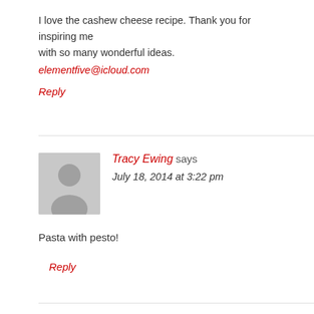I love the cashew cheese recipe. Thank you for inspiring me with so many wonderful ideas.
elementfive@icloud.com
Reply
Tracy Ewing says
July 18, 2014 at 3:22 pm
Pasta with pesto!
Reply